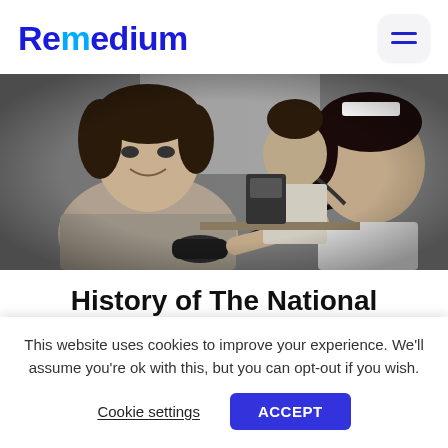Remedium
[Figure (photo): Black and white vintage photograph of a nurse taking a patient's blood pressure using a sphygmomanometer; another figure visible in the background at a desk.]
History of The National
This website uses cookies to improve your experience. We'll assume you're ok with this, but you can opt-out if you wish.
Cookie settings   ACCEPT